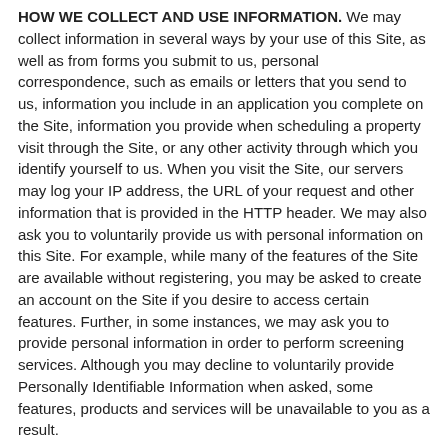HOW WE COLLECT AND USE INFORMATION. We may collect information in several ways by your use of this Site, as well as from forms you submit to us, personal correspondence, such as emails or letters that you send to us, information you include in an application you complete on the Site, information you provide when scheduling a property visit through the Site, or any other activity through which you identify yourself to us. When you visit the Site, our servers may log your IP address, the URL of your request and other information that is provided in the HTTP header. We may also ask you to voluntarily provide us with personal information on this Site. For example, while many of the features of the Site are available without registering, you may be asked to create an account on the Site if you desire to access certain features. Further, in some instances, we may ask you to provide personal information in order to perform screening services. Although you may decline to voluntarily provide Personally Identifiable Information when asked, some features, products and services will be unavailable to you as a result.
Company may use the information collected from you to provide services which you have requested from us, including, without limitation, enabling you to use the Resident Portal. We may also use your personal information to send you targeted messages, publications, news and information about events, special offers, promotions and benefits.